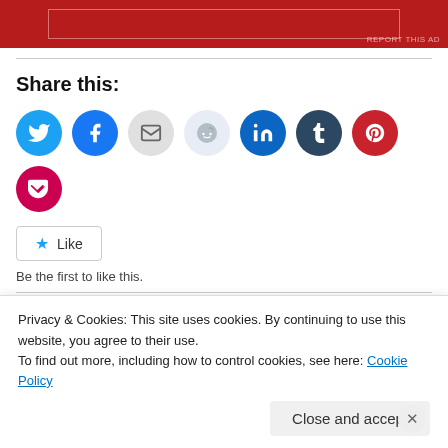[Figure (other): Red advertisement banner at top of page with inner bordered rectangle and 'REPORT THIS AD' text]
Share this:
[Figure (other): Row of social sharing icon circles: Twitter, Facebook, Email, Reddit, LinkedIn, Tumblr, Pinterest, Pocket]
Like
Be the first to like this.
Related
Privacy & Cookies: This site uses cookies. By continuing to use this website, you agree to their use.
To find out more, including how to control cookies, see here: Cookie Policy
Close and accept